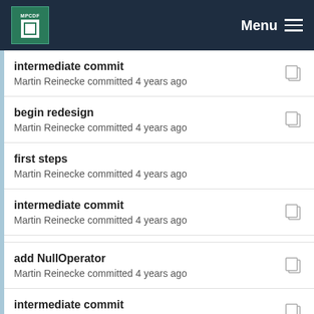MPCDF Menu
intermediate commit
Martin Reinecke committed 4 years ago
begin redesign
Martin Reinecke committed 4 years ago
first steps
Martin Reinecke committed 4 years ago
intermediate commit
Martin Reinecke committed 4 years ago
add NullOperator
Martin Reinecke committed 4 years ago
intermediate commit
Martin Reinecke committed 4 years ago